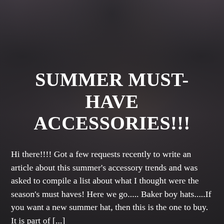[Figure (photo): A blurred photograph of a dark-haired woman wearing teal/green earrings and a green scarf, used as a background image for a fashion blog post.]
SUMMER MUST-HAVE ACCESSORIES!!!
Hi there!!!! Got a few requests recently to write an article about this summer's accessory trends and was asked to compile a list about what I thought were the season's must haves! Here we go..... Baker boy hats.....If you want a new summer hat, then this is the one to buy. It is part of [...]
READ MORE →